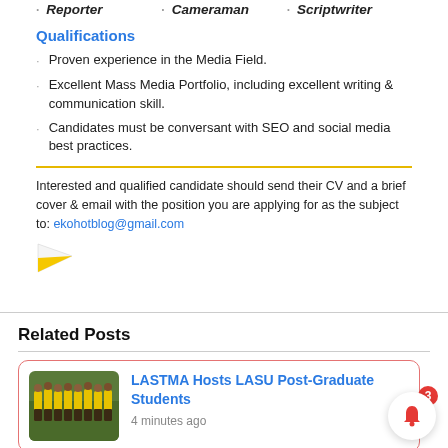Reporter · Cameraman · Scriptwriter
Qualifications
Proven experience in the Media Field.
Excellent Mass Media Portfolio, including excellent writing & communication skill.
Candidates must be conversant with SEO and social media best practices.
Interested and qualified candidate should send their CV and a brief cover & email with the position you are applying for as the subject to: ekohotblog@gmail.com
[Figure (illustration): Small flag icon (white and gold/yellow)]
Related Posts
[Figure (photo): Thumbnail photo of group of people in yellow uniforms outdoors]
LASTMA Hosts LASU Post-Graduate Students
4 minutes ago